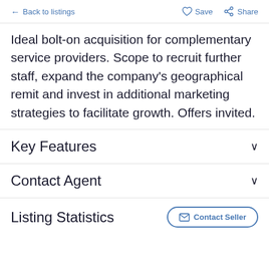← Back to listings   ♡ Save   Share
Ideal bolt-on acquisition for complementary service providers. Scope to recruit further staff, expand the company's geographical remit and invest in additional marketing strategies to facilitate growth. Offers invited.
Key Features
Contact Agent
Listing Statistics